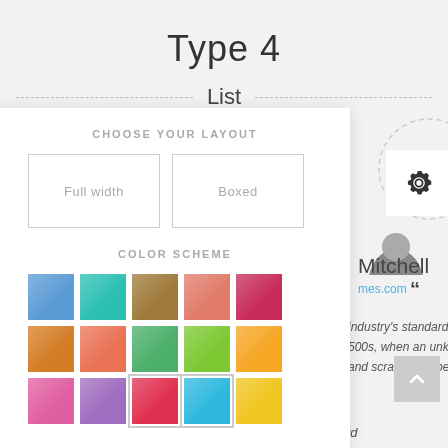Type 4
List
[Figure (screenshot): UI popup panel showing layout and color scheme selector with 'CHOOSE YOUR LAYOUT' heading, two buttons (Full width, Boxed), 'COLOR SCHEME' heading, and a 5x3 grid of colored swatches]
[Figure (illustration): Gear/settings icon in a white box, partially overlapping a dashed circle]
Mitchell
mes.com
industry's standard 500s, when an unknown and scrambled specimen
Lorem Ipsum has been the industry's standard